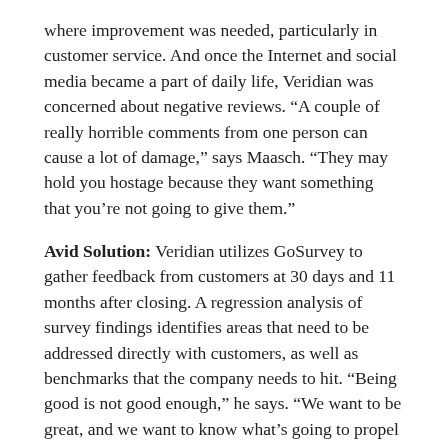where improvement was needed, particularly in customer service. And once the Internet and social media became a part of daily life, Veridian was concerned about negative reviews. “A couple of really horrible comments from one person can cause a lot of damage,” says Maasch. “They may hold you hostage because they want something that you’re not going to give them.”
Avid Solution: Veridian utilizes GoSurvey to gather feedback from customers at 30 days and 11 months after closing. A regression analysis of survey findings identifies areas that need to be addressed directly with customers, as well as benchmarks that the company needs to hit. “Being good is not good enough,” he says. “We want to be great, and we want to know what’s going to propel us into the ‘great’ category.” Avid’s program gives the builder the ability to benchmark against the best builders in the business. “If I do my own surveys, I’m benchmarking against myself and it tells me nothing.”